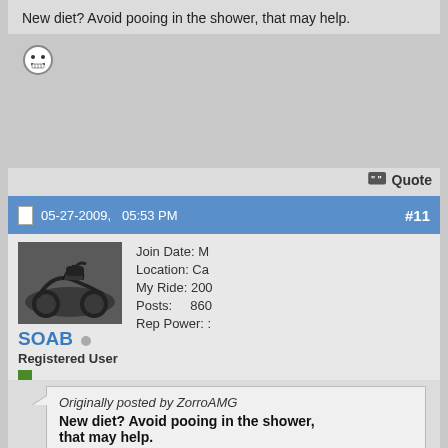New diet? Avoid pooing in the shower, that may help.
[Figure (illustration): Grinning face emoji with teeth shown]
Quote
05-27-2009, 05:53 PM  #11
[Figure (photo): Motorcycle rider leaning into a corner on a race track]
SOAB (Registered User) - Join Date: M, Location: Ca, My Ride: 200, Posts: 860, Rep Power: :
Originally posted by ZorroAMG
New diet? Avoid pooing in the shower, that may help.
[Figure (illustration): Grinning face emoji with teeth shown]